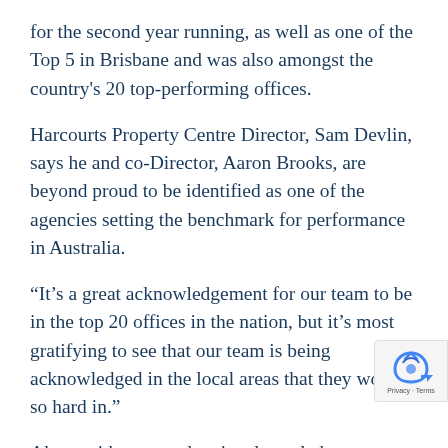for the second year running, as well as one of the Top 5 in Brisbane and was also amongst the country's 20 top-performing offices.
Harcourts Property Centre Director, Sam Devlin, says he and co-Director, Aaron Brooks, are beyond proud to be identified as one of the agencies setting the benchmark for performance in Australia.
“It’s a great acknowledgement for our team to be in the top 20 offices in the nation, but it’s most gratifying to see that our team is being acknowledged in the local areas that they work so hard in.”
Along with state and national accolades, Harcou...